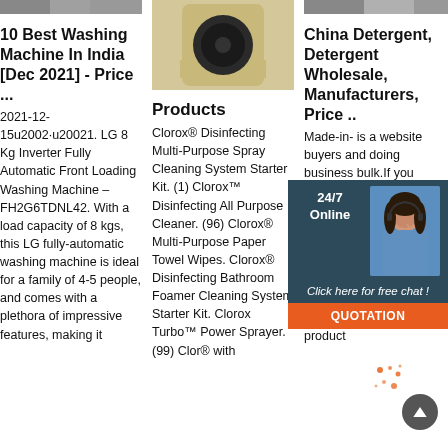[Figure (photo): Top strip of a washing machine image (cropped)]
10 Best Washing Machine In India [Dec 2021] - Price ...
2021-12-15u2002·u20021. LG 8 Kg Inverter Fully Automatic Front Loading Washing Machine – FH2G6TDNL42. With a load capacity of 8 kgs, this LG fully-automatic washing machine is ideal for a family of 4-5 people, and comes with a plethora of impressive features, making it
[Figure (photo): Gold/beige front-loading washing machine product photo]
Products
Clorox® Disinfecting Multi-Purpose Spray Cleaning System Starter Kit. (1) Clorox™ Disinfecting All Purpose Cleaner. (96) Clorox® Multi-Purpose Paper Towel Wipes. Clorox® Disinfecting Bathroom Foamer Cleaning System Starter Kit. Clorox Turbo™ Power Sprayer. (99) Clor® with
[Figure (photo): Top strip of a machinery/appliance image (cropped)]
China Detergent, Detergent Wholesale, Manufacturers, Price ..
Made-in- is a website buyers and doing business bulk.If you buy china Detergent, Detergent, Detergent Powder on Made-in-China.com,please find the supplier you want,then click on 'Contact Now' either the product listing or product
[Figure (infographic): 24/7 Online chat widget with woman customer service representative photo, 'Click here for free chat!' text, and orange QUOTATION button]